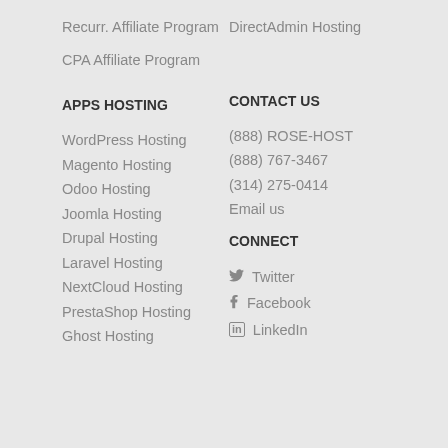Recurr. Affiliate Program
DirectAdmin Hosting
CPA Affiliate Program
APPS HOSTING
CONTACT US
WordPress Hosting
(888) ROSE-HOST
Magento Hosting
(888) 767-3467
Odoo Hosting
(314) 275-0414
Joomla Hosting
Email us
Drupal Hosting
CONNECT
Laravel Hosting
Twitter
NextCloud Hosting
Facebook
PrestaShop Hosting
LinkedIn
Ghost Hosting